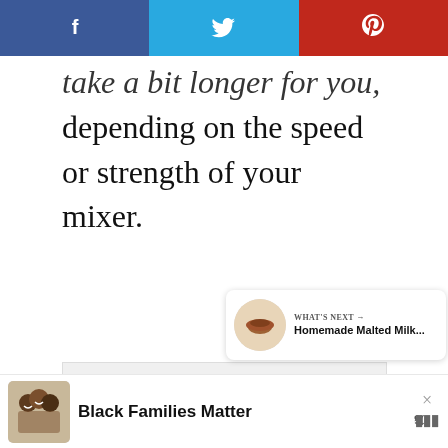f  [Twitter bird]  p
take a bit longer for you, depending on the speed or strength of your mixer.
[Figure (other): Grey advertisement placeholder box with three small square dots in the center]
[Figure (other): Red circular heart/save button with heart icon, count showing 84, and white circular share button with share icon]
[Figure (other): What's Next card showing a thumbnail image of a chocolate malted milk item with text 'WHAT'S NEXT → Homemade Malted Milk...']
[Figure (other): Advertisement banner at bottom with image of smiling Black family and bold text 'Black Families Matter', with close X and logo]
× Black Families Matter